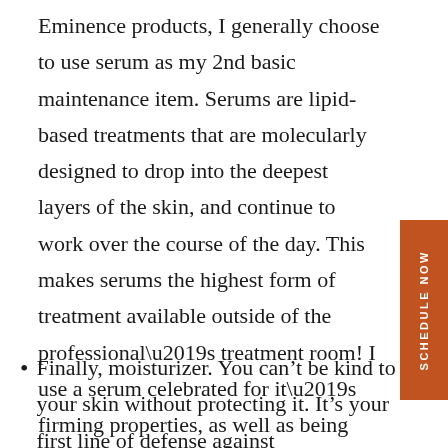Eminence products, I generally choose to use serum as my 2nd basic maintenance item. Serums are lipid-based treatments that are molecularly designed to drop into the deepest layers of the skin, and continue to work over the course of the day. This makes serums the highest form of treatment available outside of the professional’s treatment room! I use a serum celebrated for it’s firming properties, as well as being high in vitamin C and anti-oxidants.
Finally, moisturizer. You can’t be kind to your skin without protecting it. It’s your first line of defense against